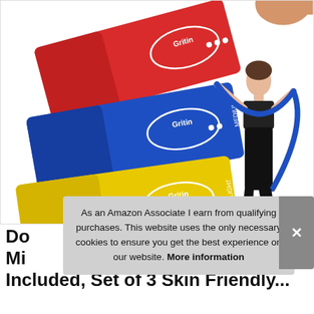[Figure (photo): Product photo of Gritin resistance bands set. Three flat exercise bands in red (Heavy), blue (Medium), and yellow (Light) are shown folded/stacked with branded Gritin labels. On the right, a woman in black athletic wear stretches a long blue resistance band with both arms extended. A muscular torso holding something is partially visible at top right. White background.]
As an Amazon Associate I earn from qualifying purchases. This website uses the only necessary cookies to ensure you get the best experience on our website. More information
Do Mi Included, Set of 3 Skin Friendly...